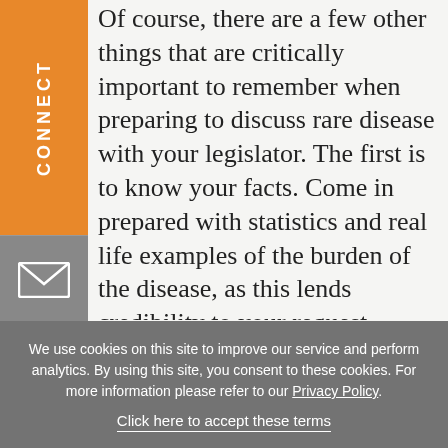CONNECT
[Figure (other): Email/envelope icon in grey square]
Of course, there are a few other things that are critically important to remember when preparing to discuss rare disease with your legislator. The first is to know your facts. Come in prepared with statistics and real life examples of the burden of the disease, as this lends credibility to your request. Second, know what you're asking for. It is important to go into a meeting with a legislator knowing what your goal is and a proposal to achieve it. Are you asking them to join the Rare Disease Caucus? Are you requesting
We use cookies on this site to improve our service and perform analytics. By using this site, you consent to these cookies. For more information please refer to our Privacy Policy.
Click here to accept these terms